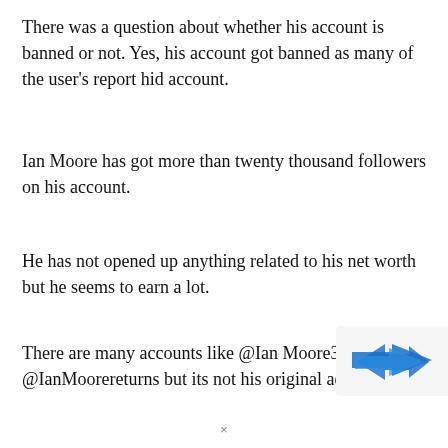There was a question about whether his account is banned or not. Yes, his account got banned as many of the user's report hid account.
Ian Moore has got more than twenty thousand followers on his account.
He has not opened up anything related to his net worth but he seems to earn a lot.
There are many accounts like @Ian Moore34, @IanMoorereturns but its not his original account.
[Figure (logo): Blue arrow logo/icon on light grey background, partially visible in bottom-right corner]